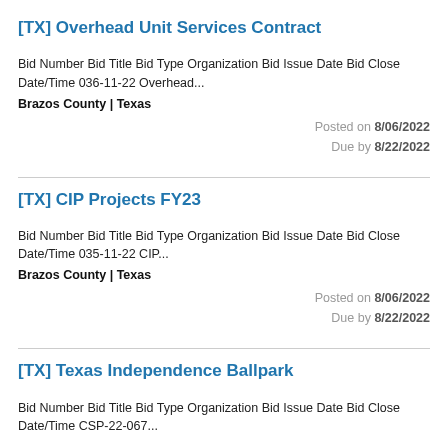[TX] Overhead Unit Services Contract
Bid Number Bid Title Bid Type Organization Bid Issue Date Bid Close Date/Time 036-11-22 Overhead...
Brazos County | Texas
Posted on 8/06/2022
Due by 8/22/2022
[TX] CIP Projects FY23
Bid Number Bid Title Bid Type Organization Bid Issue Date Bid Close Date/Time 035-11-22 CIP...
Brazos County | Texas
Posted on 8/06/2022
Due by 8/22/2022
[TX] Texas Independence Ballpark
Bid Number Bid Title Bid Type Organization Bid Issue Date Bid Close Date/Time CSP-22-067...